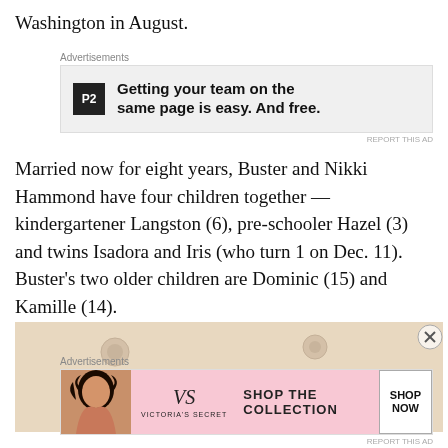Washington in August.
[Figure (other): Advertisement banner: P2 logo with text 'Getting your team on the same page is easy. And free.']
Married now for eight years, Buster and Nikki Hammond have four children together — kindergartener Langston (6), pre-schooler Hazel (3) and twins Isadora and Iris (who turn 1 on Dec. 11). Buster's two older children are Dominic (15) and Kamille (14).
[Figure (photo): Photo of a person wearing a black cap with a teal 'W' letter logo, seen from behind.]
[Figure (other): Victoria's Secret advertisement: 'SHOP THE COLLECTION' with 'SHOP NOW' button and model photo.]